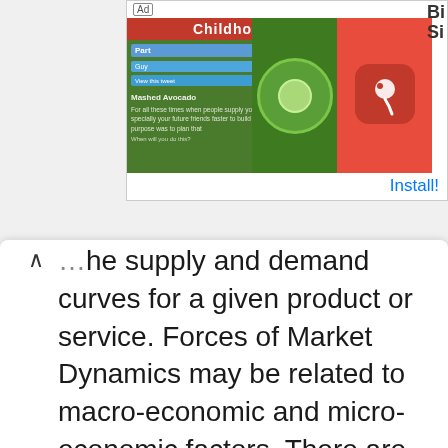[Figure (screenshot): BitLife mobile app advertisement banner showing a game screenshot with 'Childhood' red bar, green background game content, BitLife logo, red icon with sperm symbol, and 'Install!' button link]
...he supply and demand curves for a given product or service. Forces of Market Dynamics may be related to macro-economic and micro-economic factors. There are dynamic market forces other than price, demand, and supply. Human emotions can also drive decisions, influence the market, and create price signals.